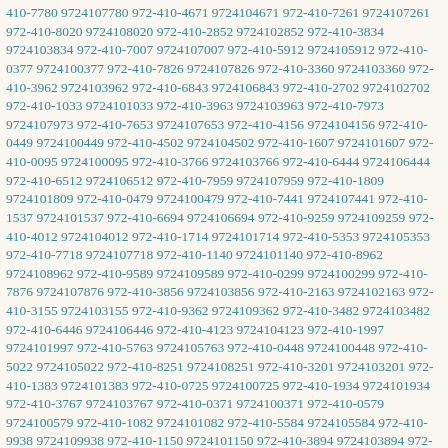410-7780 9724107780 972-410-4671 9724104671 972-410-7261 9724107261 972-410-8020 9724108020 972-410-2852 9724102852 972-410-3834 9724103834 972-410-7007 9724107007 972-410-5912 9724105912 972-410-0377 9724100377 972-410-7826 9724107826 972-410-3360 9724103360 972-410-3962 9724103962 972-410-6843 9724106843 972-410-2702 9724102702 972-410-1033 9724101033 972-410-3963 9724103963 972-410-7973 9724107973 972-410-7653 9724107653 972-410-4156 9724104156 972-410-0449 9724100449 972-410-4502 9724104502 972-410-1607 9724101607 972-410-0095 9724100095 972-410-3766 9724103766 972-410-6444 9724106444 972-410-6512 9724106512 972-410-7959 9724107959 972-410-1809 9724101809 972-410-0479 9724100479 972-410-7441 9724107441 972-410-1537 9724101537 972-410-6694 9724106694 972-410-9259 9724109259 972-410-4012 9724104012 972-410-1714 9724101714 972-410-5353 9724105353 972-410-7718 9724107718 972-410-1140 9724101140 972-410-8962 9724108962 972-410-9589 9724109589 972-410-0299 9724100299 972-410-7876 9724107876 972-410-3856 9724103856 972-410-2163 9724102163 972-410-3155 9724103155 972-410-9362 9724109362 972-410-3482 9724103482 972-410-6446 9724106446 972-410-4123 9724104123 972-410-1997 9724101997 972-410-5763 9724105763 972-410-0448 9724100448 972-410-5022 9724105022 972-410-8251 9724108251 972-410-3201 9724103201 972-410-1383 9724101383 972-410-0725 9724100725 972-410-1934 9724101934 972-410-3767 9724103767 972-410-0371 9724100371 972-410-0579 9724100579 972-410-1082 9724101082 972-410-5584 9724105584 972-410-9938 9724109938 972-410-1150 9724101150 972-410-3894 9724103894 972-410-2963 9724102963 972-410-6439